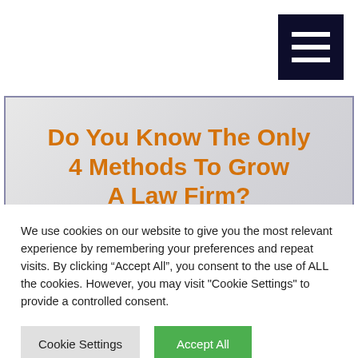[Figure (illustration): Hamburger menu icon — three white horizontal bars on a dark navy background square, positioned top-right corner]
Do You Know The Only 4 Methods To Grow A Law Firm?
[Figure (illustration): Gray gradient hero banner background with a blue-gray triangular/wedge graphic shape at the bottom center]
We use cookies on our website to give you the most relevant experience by remembering your preferences and repeat visits. By clicking “Accept All”, you consent to the use of ALL the cookies. However, you may visit "Cookie Settings" to provide a controlled consent.
Cookie Settings
Accept All